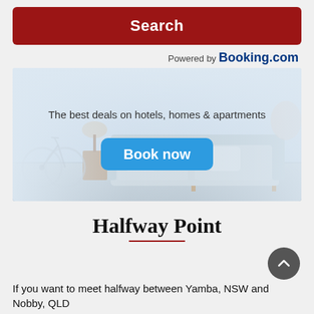Search
Powered by Booking.com
[Figure (photo): Interior room/apartment with sofa, coffee table, bicycle — hotel booking banner image with 'The best deals on hotels, homes & apartments' tagline and 'Book now' button]
Halfway Point
If you want to meet halfway between Yamba, NSW and Nobby, QLD